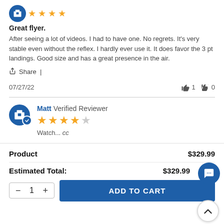[Figure (other): Blue circular reviewer avatar with store/shop icon and 4 yellow star rating]
Great flyer.
After seeing a lot of videos. I had to have one. No regrets. It's very stable even without the reflex. I hardly ever use it. It does favor the 3 pt landings. Good size and has a great presence in the air.
Share |
07/27/22  👍 1  👎 0
[Figure (other): Blue circular reviewer avatar with store icon and verified checkmark badge, 4-star (out of 5) rating, reviewer name Matt Verified Reviewer]
Matt Verified Reviewer
Watch... cc
| Product | Price |
| --- | --- |
| Product | $329.99 |
| Estimated Total: | $329.99 |
ADD TO CART